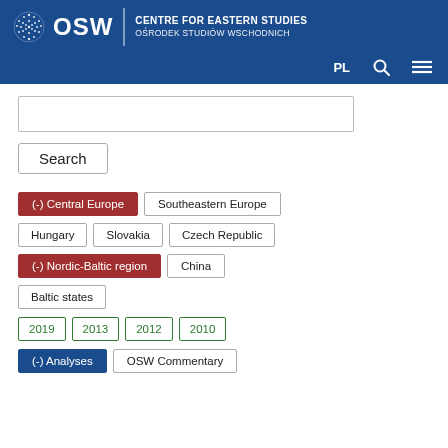OSW – Centre for Eastern Studies / Ośrodek Studiów Wschodnich
[Figure (screenshot): Search interface with filter tags for Central Europe, Southeastern Europe, Hungary, Slovakia, Czech Republic, Nordic-Baltic region, China, Baltic states, years 2019/2013/2012/2010, Analyses, OSW Commentary]
(-) Central Europe
Southeastern Europe
Hungary
Slovakia
Czech Republic
(-) Nordic-Baltic region
China
Baltic states
2019
2013
2012
2010
(-) Analyses
OSW Commentary